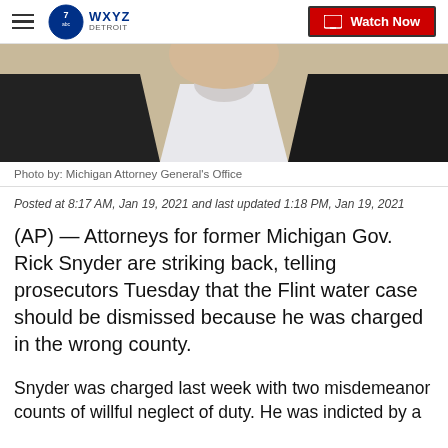WXYZ Detroit | Watch Now
[Figure (photo): Photo of former Michigan Gov. Rick Snyder, showing a man in a dark suit with white shirt against a neutral background]
Photo by: Michigan Attorney General's Office
Posted at 8:17 AM, Jan 19, 2021 and last updated 1:18 PM, Jan 19, 2021
(AP) — Attorneys for former Michigan Gov. Rick Snyder are striking back, telling prosecutors Tuesday that the Flint water case should be dismissed because he was charged in the wrong county.
Snyder was charged last week with two misdemeanor counts of willful neglect of duty. He was indicted by a